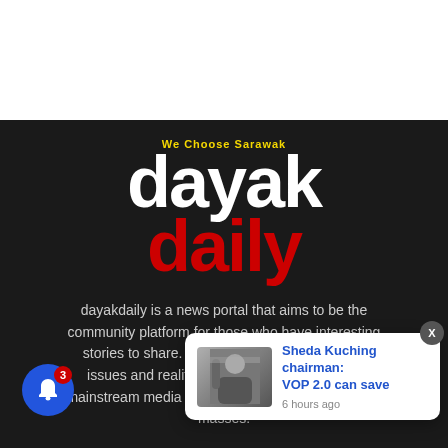[Figure (logo): Dayak Daily logo with tagline 'We Choose Sarawak'. White text 'dayak' and red text 'daily' on dark background.]
dayakdaily is a news portal that aims to be the community platform for those who have interesting stories to share. Stories that are closer to real issues and realities that are harder to get in the mainstream media and to bring these stories to the masses.
[Figure (screenshot): Notification popup: 'Sheda Kuching chairman: VOP 2.0 can save' with thumbnail image and '6 hours ago' timestamp. Also a blue bell notification button with badge showing 3.]